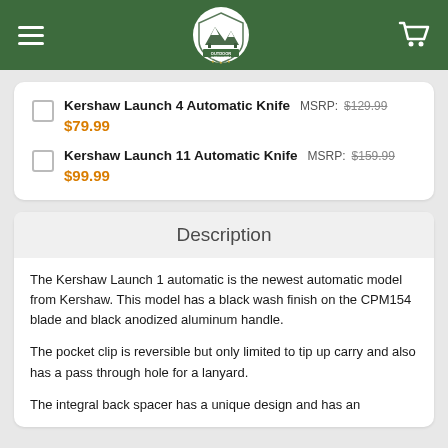Outdoor Stockroom
Kershaw Launch 4 Automatic Knife   MSRP: $129.99   $79.99
Kershaw Launch 11 Automatic Knife   MSRP: $159.99   $99.99
Description
The Kershaw Launch 1 automatic is the newest automatic model from Kershaw. This model has a black wash finish on the CPM154 blade and black anodized aluminum handle.
The pocket clip is reversible but only limited to tip up carry and also has a pass through hole for a lanyard.
The integral back spacer has a unique design and has an